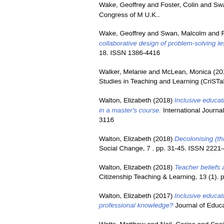Wake, Geoffrey and Foster, Colin and Swan, ... problem solving. In: 8th British Congress of M... U.K..
Wake, Geoffrey and Swan, Malcolm and Fos... collaborative design of problem-solving lesso... 18. ISSN 1386-4416
Walker, Melanie and McLean, Monica (2015)... Studies in Teaching and Learning (CriSTaL),
Walton, Elizabeth (2018) Inclusive education... in a master's course. International Journal of... 3116
Walton, Elizabeth (2018) Decolonising (throu... Social Change, 7 . pp. 31-45. ISSN 2221-407
Walton, Elizabeth (2018) Teacher beliefs abo... Citizenship Teaching & Learning, 13 (1). pp. 4
Walton, Elizabeth (2017) Inclusive education... professional knowledge? Journal of Educatio
Watts, Matthew and Neil, Carina and Speight... change agents across the globe. Journal of B... ISSN 2055-4990